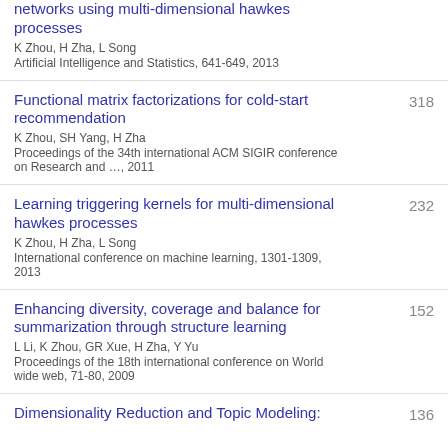networks using multi-dimensional hawkes processes
K Zhou, H Zha, L Song
Artificial Intelligence and Statistics, 641-649, 2013
Functional matrix factorizations for cold-start recommendation
K Zhou, SH Yang, H Zha
Proceedings of the 34th international ACM SIGIR conference on Research and …, 2011
318
Learning triggering kernels for multi-dimensional hawkes processes
K Zhou, H Zha, L Song
International conference on machine learning, 1301-1309, 2013
232
Enhancing diversity, coverage and balance for summarization through structure learning
L Li, K Zhou, GR Xue, H Zha, Y Yu
Proceedings of the 18th international conference on World wide web, 71-80, 2009
152
Dimensionality Reduction and Topic Modeling:
136